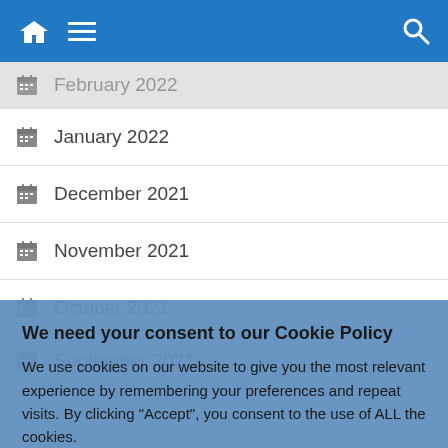Navigation bar with home, menu, and search icons
February 2022
January 2022
December 2021
November 2021
October 2021
September 2021
We need your consent to our Cookie Policy
We use cookies on our website to give you the most relevant experience by remembering your preferences and repeat visits. By clicking "Accept", you consent to the use of ALL the cookies.
Do not sell my personal information.
Cookie Settings   Accept